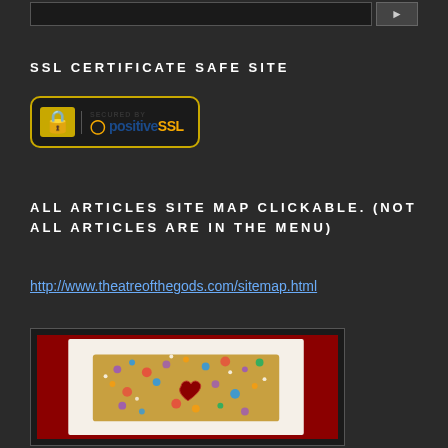[Figure (screenshot): Search bar with dark background and a search button with arrow]
SSL CERTIFICATE SAFE SITE
[Figure (logo): PositiveSSL badge - Secured by PositiveSSL with lock icon, gold border on dark background]
ALL ARTICLES SITE MAP CLICKABLE. (NOT ALL ARTICLES ARE IN THE MENU)
http://www.theatreofthegods.com/sitemap.html
[Figure (photo): Photo of a jeweled decorative box covered in rhinestones and crystals on a red fabric background, with a white polaroid-style border]